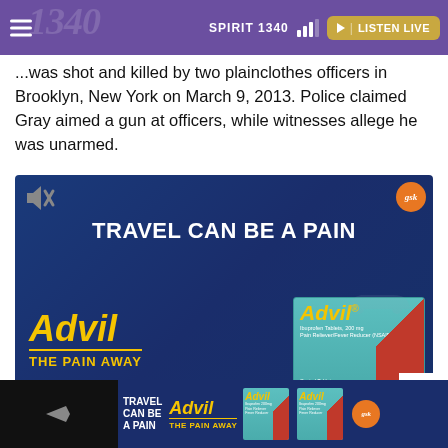SPIRIT 1340 | LISTEN LIVE
...was shot and killed by two plainclothes officers in Brooklyn, New York on March 9, 2013. Police claimed Gray aimed a gun at officers, while witnesses allege he was unarmed.
[Figure (photo): Advil advertisement: 'TRAVEL CAN BE A PAIN' with Advil branding and product box on dark blue background. GSK logo in top right. Mute icon top left.]
[Figure (photo): Bottom banner advertisement for Advil 'TRAVEL CAN BE A PAIN / THE PAIN AWAY' on dark blue background with Advil product boxes and GSK logo.]